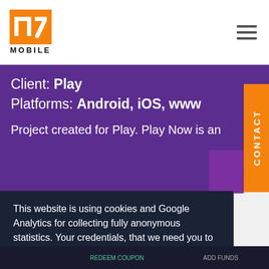n7 MOBILE
Client: Play
Platforms: Android, iOS, www
Project created for Play. Play Now is an
This website is using cookies and Google Analytics for collecting fully anonymous statistics. Your credentials, that we need you to provide for us in a contact form, are used only for purposes of replying you after.
Learn more
Got it!